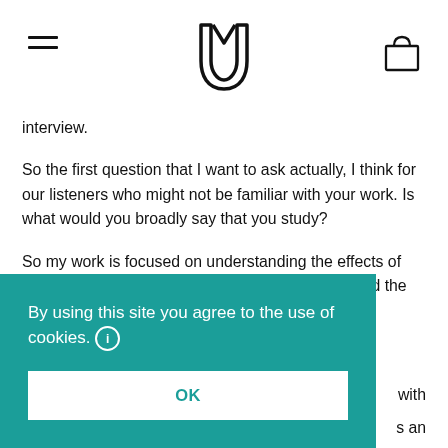[Logo: Omorpho brand mark] [hamburger menu] [bag icon]
interview.
So the first question that I want to ask actually, I think for our listeners who might not be familiar with your work. Is what would you broadly say that you study?
So my work is focused on understanding the effects of exercise on the menstrual cycle. And to understand the [with] [s an] [ning] [r-] [lth]
cardiovascular outcomes, like immune function. So all of
By using this site you agree to the use of cookies.
OK